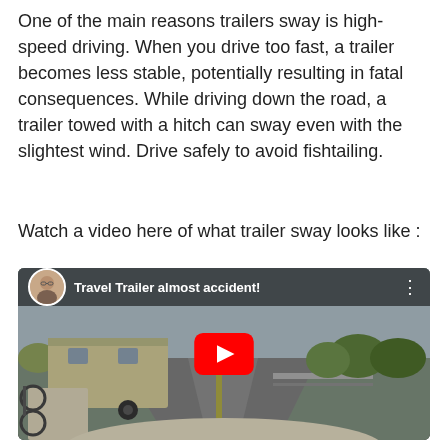One of the main reasons trailers sway is high-speed driving. When you drive too fast, a trailer becomes less stable, potentially resulting in fatal consequences. While driving down the road, a trailer towed with a hitch can sway even with the slightest wind. Drive safely to avoid fishtailing.
Watch a video here of what trailer sway looks like :
[Figure (screenshot): YouTube video thumbnail showing a travel trailer being towed on a highway, with a red YouTube play button in the center. The video title reads 'Travel Trailer almost accident!' with a user avatar in the top left corner.]